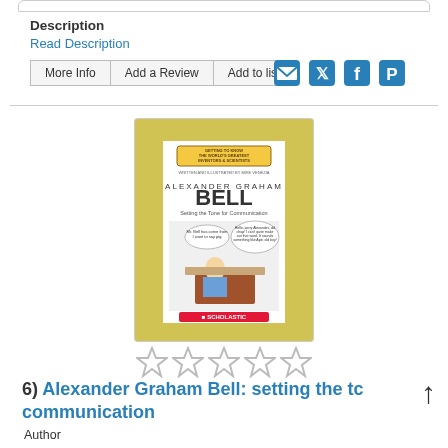Description
Read Description
More Info | Add a Review | Add to list
[Figure (screenshot): Social sharing icons: email, Twitter, Facebook, Pinterest]
[Figure (photo): Book cover: Alexander Graham Bell - Setting the Tone for Communication, Scholastic, illustrated cover with cartoon of Bell at desk surrounded by gadgets]
[Figure (other): Five empty star rating icons]
6)  Alexander Graham Bell: setting the tone for communication
Author
Venezia, Mike